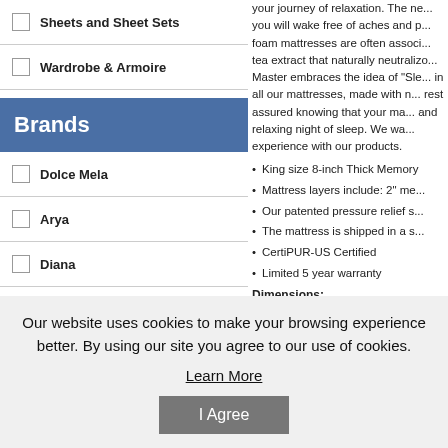Sheets and Sheet Sets
Wardrobe & Armoire
Brands
Dolce Mela
Arya
Diana
Le Vele
your journey of relaxation. The ne... you will wake free of aches and p... foam mattresses are often associ... tea extract that naturally neutralizo... Master embraces the idea of "Sle... in all our mattresses, made with n... rest assured knowing that your ma... and relaxing night of sleep. We wa... experience with our products.
King size 8-inch Thick Memory...
Mattress layers include: 2" me...
Our patented pressure relief s...
The mattress is shipped in a s...
CertiPUR-US Certified
Limited 5 year warranty
Dimensions:
80 x 76 x 8 inches
Weight: 75lbs
Our website uses cookies to make your browsing experience better. By using our site you agree to our use of cookies.
Learn More
I Agree